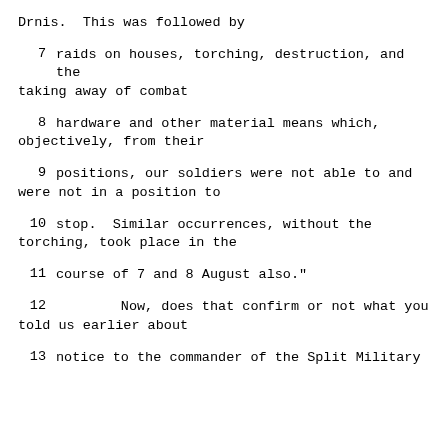Drnis.  This was followed by
7      raids on houses, torching, destruction, and the taking away of combat
8      hardware and other material means which, objectively, from their
9      positions, our soldiers were not able to and were not in a position to
10      stop.  Similar occurrences, without the torching, took place in the
11      course of 7 and 8 August also."
12              Now, does that confirm or not what you told us earlier about
13      notice to the commander of the Split Military